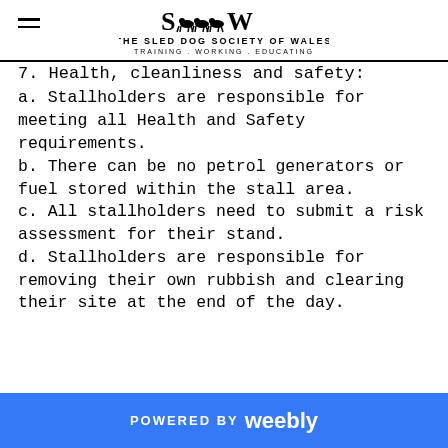THE SLED DOG SOCIETY OF WALES — TRAINING . WORKING . EDUCATING
7. Health, cleanliness and safety:
a. Stallholders are responsible for meeting all Health and Safety requirements.
b. There can be no petrol generators or fuel stored within the stall area.
c. All stallholders need to submit a risk assessment for their stand.
d. Stallholders are responsible for removing their own rubbish and clearing their site at the end of the day.
POWERED BY weebly